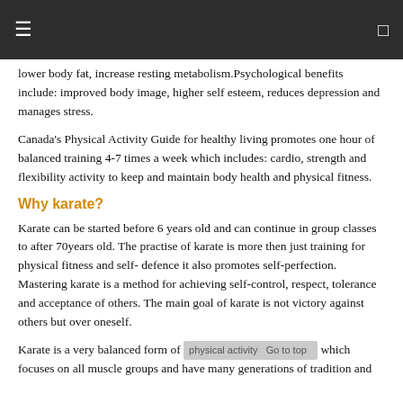☰  [monitor icon]
lower body fat, increase resting metabolism.Psychological benefits include: improved body image, higher self esteem, reduces depression and manages stress.
Canada's Physical Activity Guide for healthy living promotes one hour of balanced training 4-7 times a week which includes: cardio, strength and flexibility activity to keep and maintain body health and physical fitness.
Why karate?
Karate can be started before 6 years old and can continue in group classes to after 70years old. The practise of karate is more then just training for physical fitness and self- defence it also promotes self-perfection. Mastering karate is a method for achieving self-control, respect, tolerance and acceptance of others. The main goal of karate is not victory against others but over oneself.
Karate is a very balanced form of physical activity which focuses on all muscle groups and have many generations of tradition and